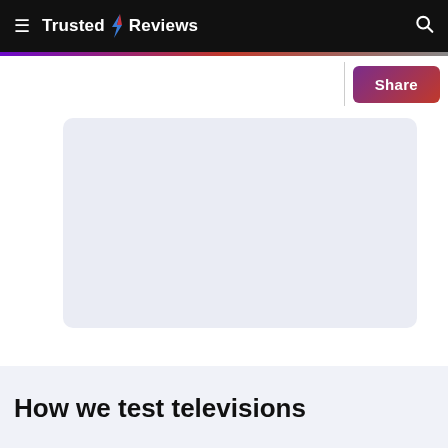Trusted Reviews
[Figure (other): Large light blue-grey placeholder image area with rounded corners, representing an article image]
How we test televisions